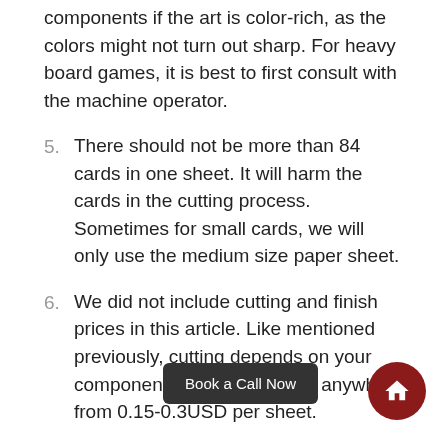components if the art is color-rich, as the colors might not turn out sharp. For heavy board games, it is best to first consult with the machine operator.
5. There should not be more than 84 cards in one sheet. It will harm the cards in the cutting process. Sometimes for small cards, we will only use the medium size paper sheet.
6. We did not include cutting and finish prices in this article. Like mentioned previously, cutting depends on your components, and finish adds anywhere from 0.15-0.3USD per sheet.
7. For an order of 3000+ sets, it is best to look at the complete art and evaluate a price accordingly.
8. Large publishers who want to become more cost-effective should control the supply chain all the way